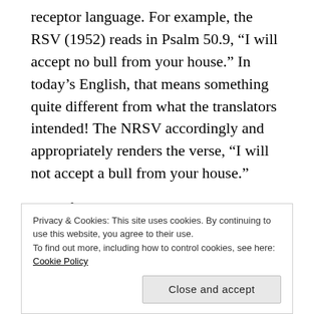receptor language. For example, the RSV (1952) reads in Psalm 50.9, “I will accept no bull from your house.” In today’s English, that means something quite different from what the translators intended! The NRSV accordingly and appropriately renders the verse, “I will not accept a bull from your house.”
One of the great challenges in English translations of the Bible today is to avoid language that can become fodder for bathroom humor. Or, as one of the translators of the ESV once mentioned, a major challenge is to
Privacy & Cookies: This site uses cookies. By continuing to use this website, you agree to their use.
To find out more, including how to control cookies, see here: Cookie Policy
Close and accept